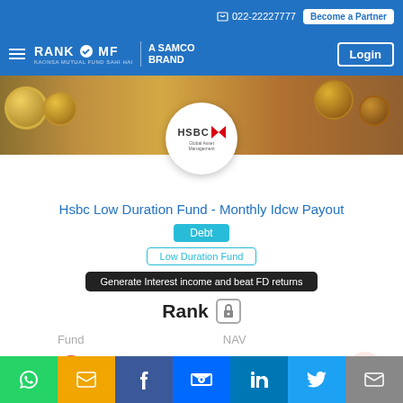022-22227777  Become a Partner
RANK MF A SAMCO BRAND  Login
[Figure (photo): Hero banner with coins and currency notes background, HSBC Global Asset Management logo in white circle overlay]
Hsbc Low Duration Fund - Monthly Idcw Payout
Debt
Low Duration Fund
Generate Interest income and beat FD returns
Rank 🔒
| Fund | NAV |
| --- | --- |
| (thumbs down icon) | ₹10.356 |
WhatsApp | SMS | Facebook | Messenger | LinkedIn | Twitter | Email